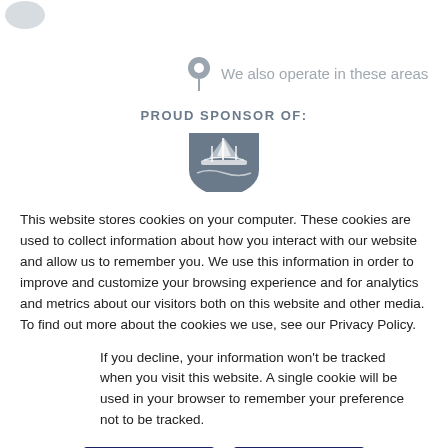[Figure (illustration): Partial map pin icon and 'We also operate in these areas' label text in grey]
PROUD SPONSOR OF:
[Figure (logo): Plymouth Argyle FC shield logo in grey/slate color]
This website stores cookies on your computer. These cookies are used to collect information about how you interact with our website and allow us to remember you. We use this information in order to improve and customize your browsing experience and for analytics and metrics about our visitors both on this website and other media. To find out more about the cookies we use, see our Privacy Policy.
If you decline, your information won't be tracked when you visit this website. A single cookie will be used in your browser to remember your preference not to be tracked.
Accept
Decline